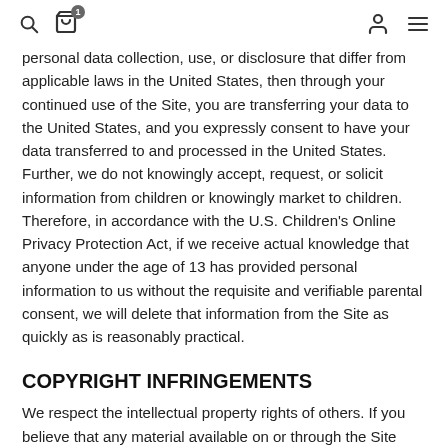search icon, cart icon with badge 1, user icon, menu icon
personal data collection, use, or disclosure that differ from applicable laws in the United States, then through your continued use of the Site, you are transferring your data to the United States, and you expressly consent to have your data transferred to and processed in the United States. Further, we do not knowingly accept, request, or solicit information from children or knowingly market to children. Therefore, in accordance with the U.S. Children's Online Privacy Protection Act, if we receive actual knowledge that anyone under the age of 13 has provided personal information to us without the requisite and verifiable parental consent, we will delete that information from the Site as quickly as is reasonably practical.
COPYRIGHT INFRINGEMENTS
We respect the intellectual property rights of others. If you believe that any material available on or through the Site infringes upon